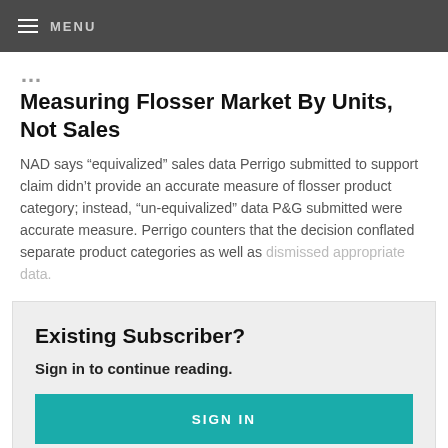MENU
Measuring Flosser Market By Units, Not Sales
NAD says “equivalized” sales data Perrigo submitted to support claim didn’t provide an accurate measure of flosser product category; instead, “un-equivalized” data P&G submitted were accurate measure. Perrigo counters that the decision conflated separate product categories as well as dismissed appropriate data.
Existing Subscriber?
Sign in to continue reading.
SIGN IN
New to HBW Insight?
Start a free trial today!